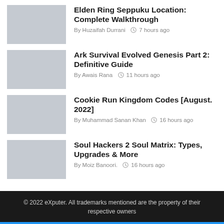Elden Ring Seppuku Location: Complete Walkthrough — By Huzaifah Durrani  7 hours ago
Ark Survival Evolved Genesis Part 2: Definitive Guide — By Awais Rana  11 hours ago
Cookie Run Kingdom Codes [August. 2022] — By Muhammad Sanan Khan  16 hours ago
Soul Hackers 2 Soul Matrix: Types, Upgrades & More — By Moiz Banoori.  16 hours ago
© 2022 eXputer. All trademarks mentioned are the property of their respective owners